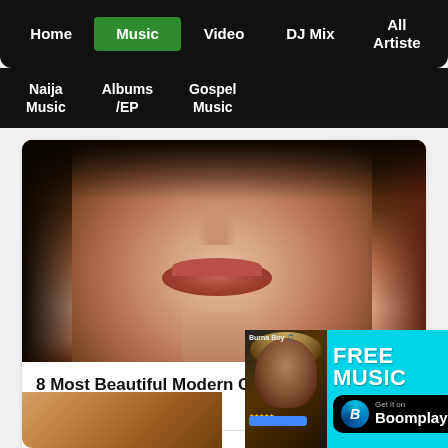Home | Music | Video | DJ Mix | All Artiste
Naija Music | Albums /EP | Gospel Music
[Figure (photo): Close-up photo of a woman's face (Chinese actress), cropped showing nose, lips, chin and neck against dark background]
8 Most Beautiful Modern Chinese Actresses
More...
209  52  70
[Figure (infographic): Boomplay advertisement banner: thumbnail of Burna Boy, FREE MUSIC text in white, Get it on Boomplay logo button on cyan background]